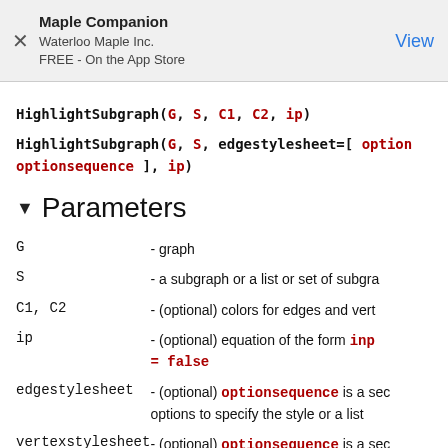Maple Companion
Waterloo Maple Inc.
FREE - On the App Store
View
HighlightSubgraph(G, S, C1, C2, ip)
HighlightSubgraph(G, S, edgestylesheet=[ optionsequence ], ip)
Parameters
G - graph
S - a subgraph or a list or set of subgraphs
C1, C2 - (optional) colors for edges and vertices
ip - (optional) equation of the form inplace = false
edgestylesheet - (optional) optionsequence is a sequence of options to specify the style or a list
vertexstylesheet - (optional) optionsequence is a sequence